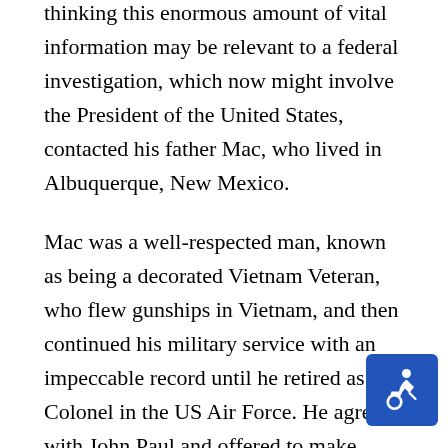thinking this enormous amount of vital information may be relevant to a federal investigation, which now might involve the President of the United States, contacted his father Mac, who lived in Albuquerque, New Mexico.
Mac was a well-respected man, known as being a decorated Vietnam Veteran, who flew gunships in Vietnam, and then continued his military service with an impeccable record until he retired as a Colonel in the US Air Force. He agreed with John Paul and offered to make initial contact by taking the data files to the FBI office in Albuquerque.
But, after discussing the potential importance of the information, he would be off to...
[Figure (illustration): Blue square accessibility icon with white wheelchair user symbol]